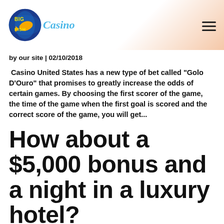Big Fish Casino
by our site | 02/10/2018
Casino United States has a new type of bet called "Golo D'Ouro" that promises to greatly increase the odds of certain games. By choosing the first scorer of the game, the time of the game when the first goal is scored and the correct score of the game, you will get...
How about a $5,000 bonus and a night in a luxury hotel?